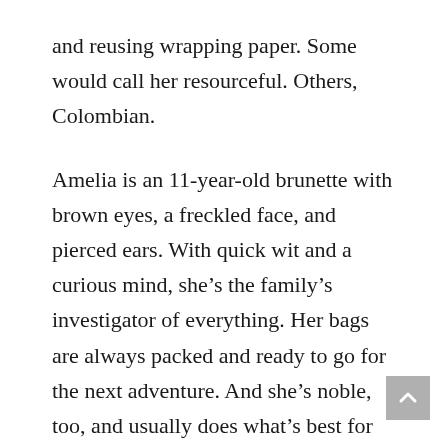and reusing wrapping paper. Some would call her resourceful. Others, Colombian.
Amelia is an 11-year-old brunette with brown eyes, a freckled face, and pierced ears. With quick wit and a curious mind, she’s the family’s investigator of everything. Her bags are always packed and ready to go for the next adventure. And she’s noble, too, and usually does what’s best for others.
Benjamin is the one with long hair. He is the boy who is bringing a full-size